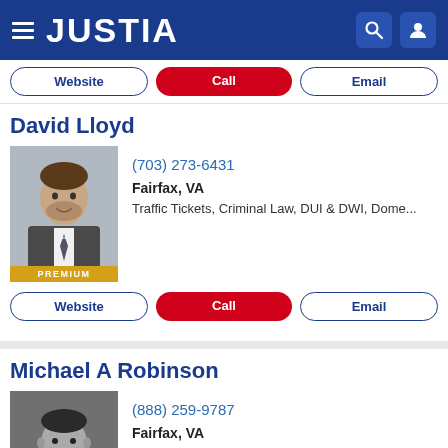JUSTIA
Website | Call | Email
David Lloyd
(703) 273-6431
Fairfax, VA
Traffic Tickets, Criminal Law, DUI & DWI, Dome...
[Figure (photo): Headshot of David Lloyd, attorney, wearing suit and tie. PREMIUM badge at bottom.]
Website | Call | Email
Michael A Robinson
(888) 259-9787
Fairfax, VA
Criminal Law, DUI & DWI, Juvenile Law, Traffic ...
[Figure (photo): Black and white headshot of Michael A Robinson, attorney, wearing suit. PREMIUM badge at bottom.]